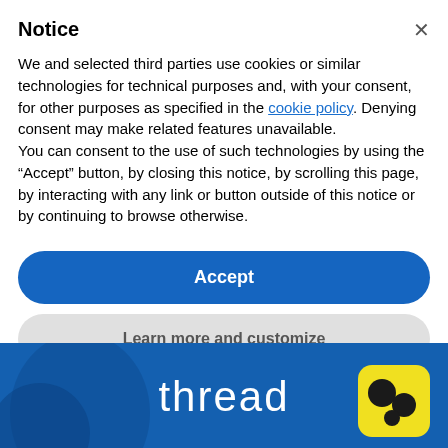Notice
We and selected third parties use cookies or similar technologies for technical purposes and, with your consent, for other purposes as specified in the cookie policy. Denying consent may make related features unavailable.
You can consent to the use of such technologies by using the “Accept” button, by closing this notice, by scrolling this page, by interacting with any link or button outside of this notice or by continuing to browse otherwise.
Accept
Learn more and customize
[Figure (screenshot): Blue banner background with the word 'thread' in white text and a yellow app icon with dark bear/paw logo in the bottom right corner]